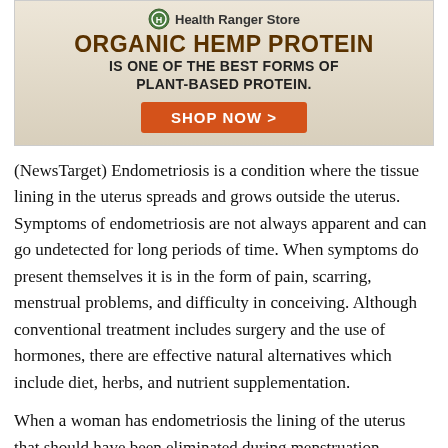[Figure (infographic): Health Ranger Store advertisement banner for Organic Hemp Protein. Features logo, headline 'ORGANIC HEMP PROTEIN IS ONE OF THE BEST FORMS OF PLANT-BASED PROTEIN.' and an orange 'SHOP NOW >' button.]
(NewsTarget) Endometriosis is a condition where the tissue lining in the uterus spreads and grows outside the uterus. Symptoms of endometriosis are not always apparent and can go undetected for long periods of time. When symptoms do present themselves it is in the form of pain, scarring, menstrual problems, and difficulty in conceiving. Although conventional treatment includes surgery and the use of hormones, there are effective natural alternatives which include diet, herbs, and nutrient supplementation.
When a woman has endometriosis the lining of the uterus that should have been eliminated during menstruation